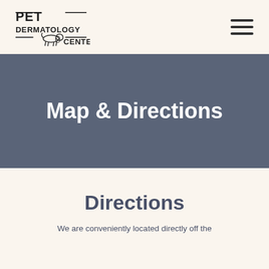PET DERMATOLOGY CENTER
Map & Directions
Directions
We are conveniently located directly off the